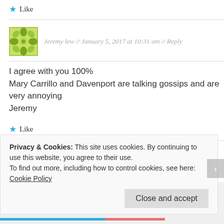★ Like
Jeremy lew // January 5, 2017 at 10:31 am // Reply
I agree with you 100%
Mary Carrillo and Davenport are talking gossips and are very annoying
Jeremy
★ Like
Jeff // January 22, 2017 at 1:09 am // Reply
Privacy & Cookies: This site uses cookies. By continuing to use this website, you agree to their use.
To find out more, including how to control cookies, see here: Cookie Policy
Close and accept